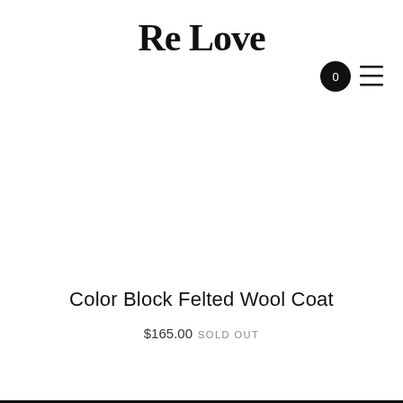Re Love
[Figure (other): Navigation icons: circular cart button with '0' badge and hamburger menu icon]
Color Block Felted Wool Coat
$165.00 SOLD OUT